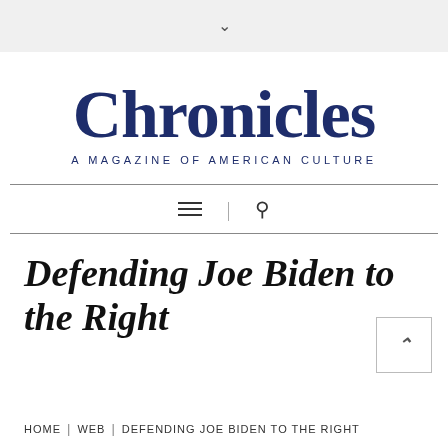∨
[Figure (logo): Chronicles: A Magazine of American Culture logo in dark navy blue serif font]
Defending Joe Biden to the Right
HOME | WEB | DEFENDING JOE BIDEN TO THE RIGHT